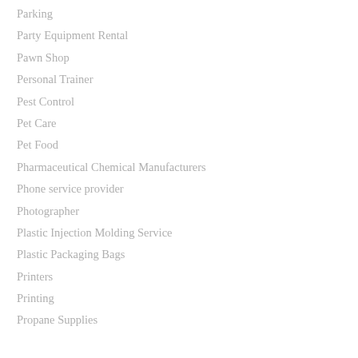Parking
Party Equipment Rental
Pawn Shop
Personal Trainer
Pest Control
Pet Care
Pet Food
Pharmaceutical Chemical Manufacturers
Phone service provider
Photographer
Plastic Injection Molding Service
Plastic Packaging Bags
Printers
Printing
Propane Supplies